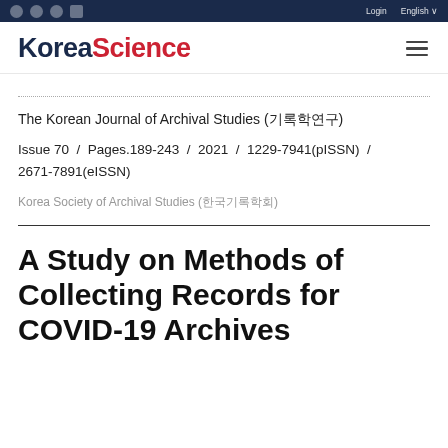KoreaScience
The Korean Journal of Archival Studies (기록학연구)
Issue 70 / Pages.189-243 / 2021 / 1229-7941(pISSN) / 2671-7891(eISSN)
Korea Society of Archival Studies (한국기록학회)
A Study on Methods of Collecting Records for COVID-19 Archives